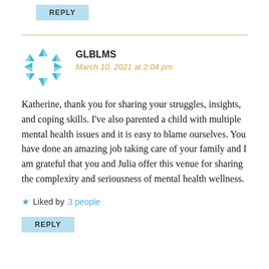REPLY
GLBLMS
March 10, 2021 at 2:04 pm
Katherine, thank you for sharing your struggles, insights, and coping skills. I've also parented a child with multiple mental health issues and it is easy to blame ourselves. You have done an amazing job taking care of your family and I am grateful that you and Julia offer this venue for sharing the complexity and seriousness of mental health wellness.
Liked by 3 people
REPLY